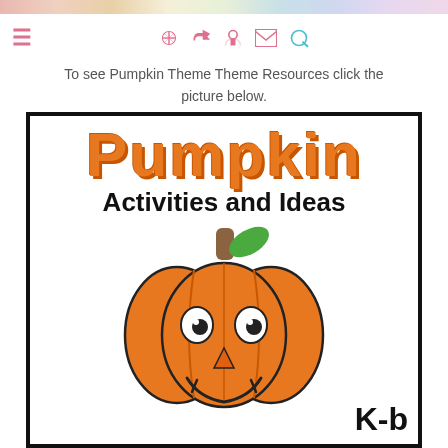To see Pumpkin Theme Theme Resources click the picture below.
[Figure (illustration): Promotional card with orange 'Pumpkin' title text, 'Activities and Ideas' subtitle, and a cartoon smiling jack-o-lantern pumpkin illustration with stem and leaf. Bottom right shows 'K-b' text partially visible.]